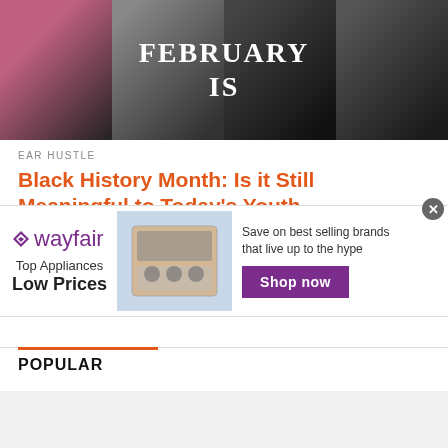[Figure (photo): Collage of Black historical figures with text overlay reading 'FEBRUARY IS' on dark background]
EAR HUSTLE
Black History Month: Is it Still Meaningful to Today's Youth
Black History month made it's debut in the late summer of 1915 in Chicago Illinois.  It's founder, Carter G. Woodson traveled from...
POPULAR
[Figure (advertisement): Wayfair advertisement: Top Appliances Low Prices. Image of stove/range appliance. Text: Save on best selling brands that live up to the hype. Shop now button.]